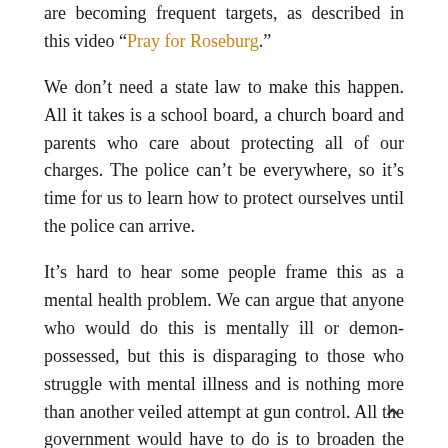are becoming frequent targets, as described in this video “Pray for Roseburg.”
We don’t need a state law to make this happen. All it takes is a school board, a church board and parents who care about protecting all of our charges. The police can’t be everywhere, so it’s time for us to learn how to protect ourselves until the police can arrive.
It’s hard to hear some people frame this as a mental health problem. We can argue that anyone who would do this is mentally ill or demon-possessed, but this is disparaging to those who struggle with mental illness and is nothing more than another veiled attempt at gun control. All the government would have to do is to broaden the definition of mental illness to include everybody and then our entire society will be disarmed.
Those on the Left, especially the President, are trying to explain how we should use this to get the guns away from